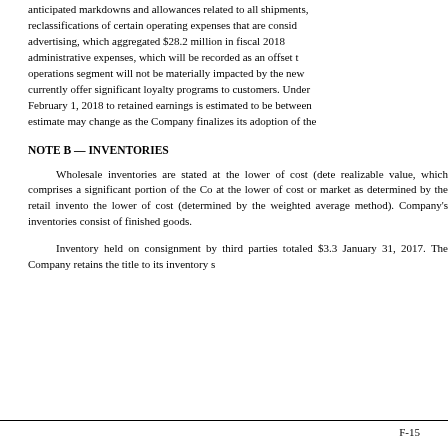anticipated markdowns and allowances related to all shipments, reclassifications of certain operating expenses that are considered advertising, which aggregated $28.2 million in fiscal 2018, administrative expenses, which will be recorded as an offset to operations segment will not be materially impacted by the new currently offer significant loyalty programs to customers. Under February 1, 2018 to retained earnings is estimated to be between estimate may change as the Company finalizes its adoption of the
NOTE B — INVENTORIES
Wholesale inventories are stated at the lower of cost (determined) realizable value, which comprises a significant portion of the Company's at the lower of cost or market as determined by the retail inventory the lower of cost (determined by the weighted average method). Company's inventories consist of finished goods.
Inventory held on consignment by third parties totaled $3.3 January 31, 2017. The Company retains the title to its inventory s
F-15